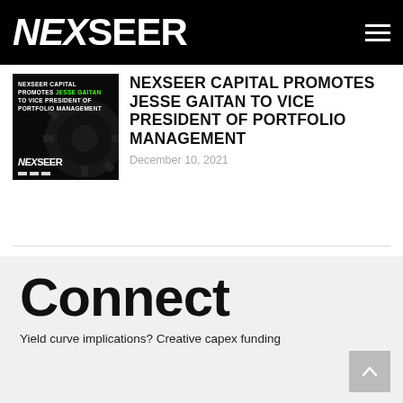NEXSEER
[Figure (photo): Thumbnail image: dark background with gear/mechanical element, text overlay reading 'NEXSEER CAPITAL PROMOTES JESSE GAITAN TO VICE PRESIDENT OF PORTFOLIO MANAGEMENT' with JESSE GAITAN highlighted in green, NEXSEER logo at bottom]
NEXSEER CAPITAL PROMOTES JESSE GAITAN TO VICE PRESIDENT OF PORTFOLIO MANAGEMENT
December 10, 2021
Connect
Yield curve implications? Creative capex funding